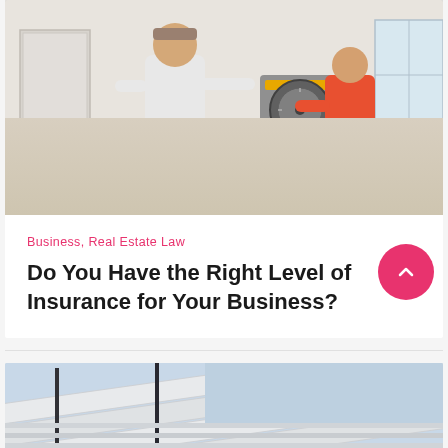[Figure (photo): Two construction workers using a circular saw / miter saw on lumber boards inside a building under renovation. Tools and materials visible in background.]
Business, Real Estate Law
Do You Have the Right Level of Insurance for Your Business?
[Figure (photo): Angled view of a building exterior with white siding panels and windows against a light blue sky.]